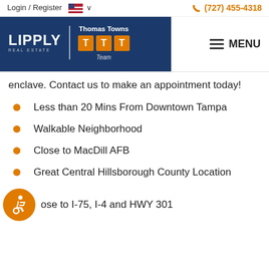Login / Register  🇺🇸 ∨    (727) 455-4318
[Figure (logo): Lipply Real Estate | Thomas Towns TTT Team logo on dark blue background]
enclave. Contact us to make an appointment today!
Less than 20 Mins From Downtown Tampa
Walkable Neighborhood
Close to MacDill AFB
Great Central Hillsborough County Location
ose to I-75, I-4 and HWY 301